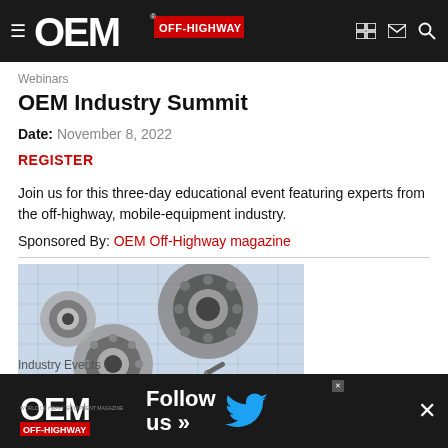OEM Off-Highway
Webinars
OEM Industry Summit
Date: November 8, 2022
REGISTER
Join us for this three-day educational event featuring experts from the off-highway, mobile-equipment industry.
Sponsored By: OEM Off-Highway magazine
[Figure (photo): Mechanical ball bearings and a wrench placed on engineering blueprint drawings]
Industry Events
[Figure (infographic): OEM Off-Highway Twitter follow us advertisement banner at the bottom of the page]